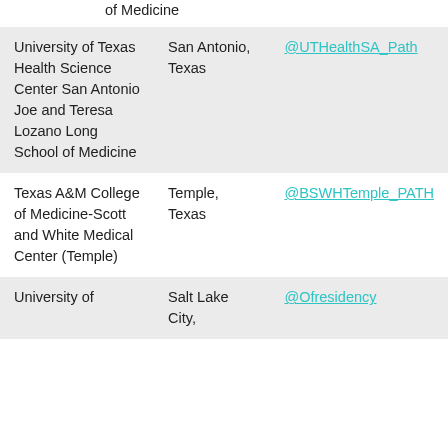of Medicine
| University of Texas Health Science Center San Antonio Joe and Teresa Lozano Long School of Medicine | San Antonio, Texas | @UTHealthSA_Path |
| Texas A&M College of Medicine-Scott and White Medical Center (Temple) | Temple, Texas | @BSWHTemple_PATH |
| University of | Salt Lake City, | @Ofresidency |